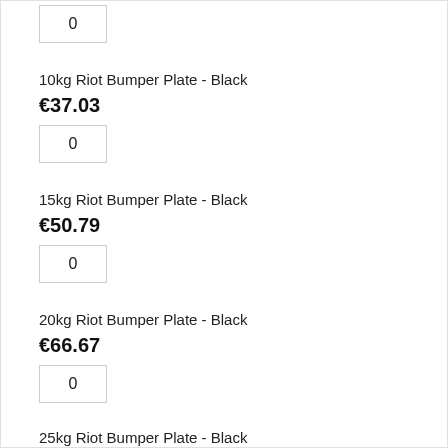0
10kg Riot Bumper Plate - Black
€37.03
0
15kg Riot Bumper Plate - Black
€50.79
0
20kg Riot Bumper Plate - Black
€66.67
0
25kg Riot Bumper Plate - Black